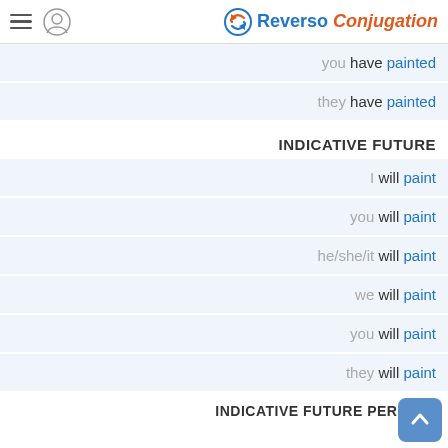Reverso Conjugation
you have painted
they have painted
INDICATIVE FUTURE
I will paint
you will paint
he/she/it will paint
we will paint
you will paint
they will paint
INDICATIVE FUTURE PERFECT